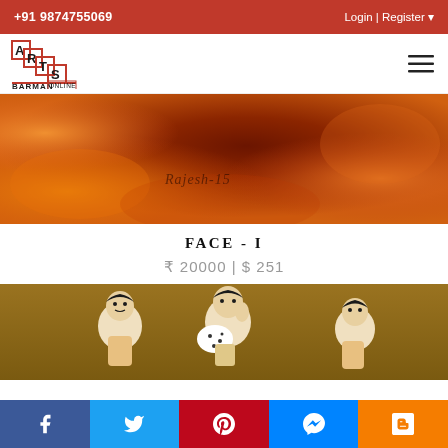+91 9874755069  Login | Register
[Figure (logo): Arts Barman Online logo with staircase design in red and black]
[Figure (photo): Close-up painting detail showing warm orange and red tones with artist signature]
FACE - I
₹ 20000 | $ 251
[Figure (photo): Painting showing Indian figures on golden/brown background]
Social share bar: Facebook, Twitter, Pinterest, Messenger, Blogger